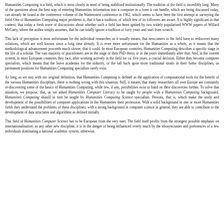Humanities Computing is a field, which is most clearly in need of being stabilised institutionally. The tradition of the field is incredibly long. Many of the questions about the best way of entering Humanities information into a computer in a form it can handle, which are being discussed today, can already be found at the conference volume of the Wartenstein conference in 1962, which seems to have been the first attempt at surveying the field. One of Humanities Computing major problems is, that it has a tradition, of which few of its followers are aware. It is highly significant in that context, that today a fresh wave of discussions about whether such a field has been ignited by two widely popularised WWW papers of Willard McCarty, where the author simply assumes, that he can totally ignore a tradition of forty years and start from scratch.
This lack of perception is most unfortunate for the individual researcher, as it usually means, that newcomers to the field have to rediscover many solutions, which are well known since a long time already. It is even more unfortunate for the Humanities as a whole, as it means that the methodological advancement proceeds much slower, that it could. In most European countries, Humanities Computing describes a specific stage in the life of a scholar. The vast majority of practitioners are in the stage of their PhD thesis or in the years immediately after that. And, in the current system, in most European countries they face, after working actively in the field for ca. five years, a crucial decision. Either they become computer specialists, which means that the leave academia for the industry, or the fall back upon more traditional straits in their home disciplines, as permanent positions for Humanities Computing specialists rarely exist.
As long, as we stay with our original definition, that Humanities Computing is defined as the application of computational tools for the benefit of the various Humanities disciplines, there is nothing wrong with this situation. Still, it means, that many researchers all over Europe are constantly re-discovering some of the basics of Humanities Computing, while few, if any, possibilities exist to hand on their discoveries further. To solve that situation, we propose, that, as we asked Humanities Computer Literacy to be taught by people with a Humanities Computing background, Humanities Computing should in turn be taught by Humanities Computing Science specialists. Persons, that is, which make the study and development of the possibilities of computer applications in the Humanities their profession. With a solid background in one or more Humanities fields they understand the problems of these disciplines; with a strong background in computer science in general, they are able to contribute to the development of data structures and algorithms as defined initially.
This field of Humanities Computer Science has to be European from the very start. The field itself profits from the strongest possible emphasis on internationalisation: as any other new discipline, it is in the danger of being influenced overly much by the idiosyncrasies and preferences of a few individuals dominating a national academic system, otherwise.